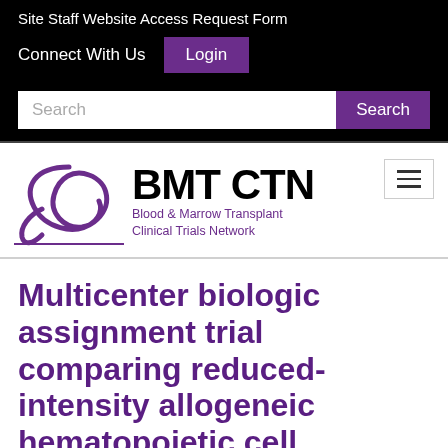Site Staff Website Access Request Form
Connect With Us   Login
[Figure (screenshot): Search bar with text input field and purple Search button]
[Figure (logo): BMT CTN - Blood & Marrow Transplant Clinical Trials Network logo with purple orbital graphic]
Multicenter biologic assignment trial comparing reduced-intensity allogeneic hematopoietic cell transplant